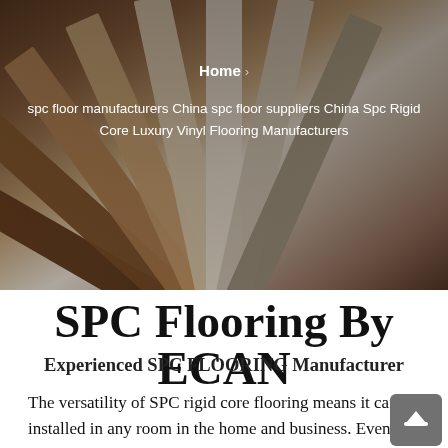[Figure (photo): Fan-spread SPC flooring planks in various wood grain colors from dark brown to light cream, shown from above, with a dark overlay.]
Home  >
spc floor manufacturers China spc floor suppliers China Spc Rigid Core Luxury Vinyl Flooring Manufacturers
SPC Flooring By ECAN
Experienced SPC FLOORING Manufacturer
The versatility of SPC rigid core flooring means it can be installed in any room in the home and business. Even in problem areas such as bathrooms and kitchens, SPC flooring is waterproof and therefore perfect for these installations. With the ultra stable core, it is also ideal for